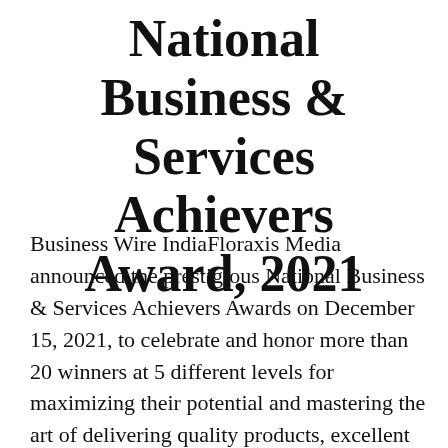National Business & Services Achievers Award, 2021
Business Wire IndiaFloraxis Media announced the prestigious National Business & Services Achievers Awards on December 15, 2021, to celebrate and honor more than 20 winners at 5 different levels for maximizing their potential and mastering the art of delivering quality products, excellent services, and trustworthy brands and business names. These awards are